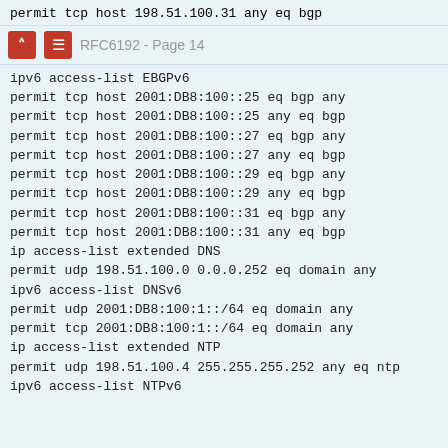permit tcp host 198.51.100.31 any eq bgp
RFC6192 - Page 14
ipv6 access-list EBGPv6
 permit tcp host 2001:DB8:100::25 eq bgp any
 permit tcp host 2001:DB8:100::25 any eq bgp
 permit tcp host 2001:DB8:100::27 eq bgp any
 permit tcp host 2001:DB8:100::27 any eq bgp
 permit tcp host 2001:DB8:100::29 eq bgp any
 permit tcp host 2001:DB8:100::29 any eq bgp
 permit tcp host 2001:DB8:100::31 eq bgp any
 permit tcp host 2001:DB8:100::31 any eq bgp
ip access-list extended DNS
 permit udp 198.51.100.0 0.0.0.252 eq domain any
ipv6 access-list DNSv6
 permit udp 2001:DB8:100:1::/64 eq domain any
 permit tcp 2001:DB8:100:1::/64 eq domain any
ip access-list extended NTP
 permit udp 198.51.100.4 255.255.255.252 any eq ntp
ipv6 access-list NTPv6